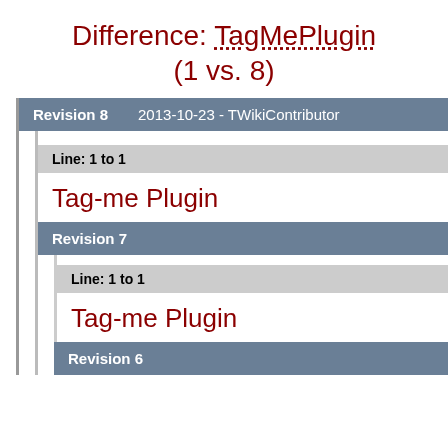Difference: TagMePlugin (1 vs. 8)
Revision 8   2013-10-23 - TWikiContributor
Line: 1 to 1
Tag-me Plugin
Revision 7
Line: 1 to 1
Tag-me Plugin
Revision 6